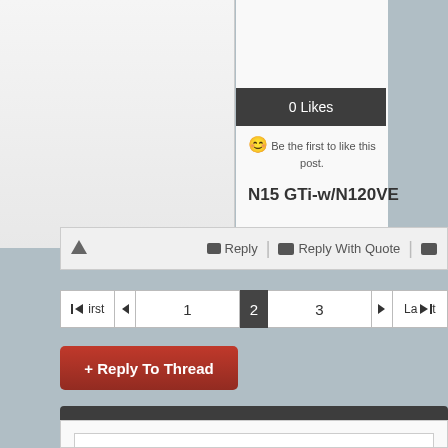[Figure (screenshot): Top portion of a forum post with a left panel (content area) and right panel showing likes]
0 Likes
Be the first to like this post.
N15 GTi-w/N120VE
Reply | Reply With Quote
First 1 2 3 Last
+ Reply To Thread
Quick Reply